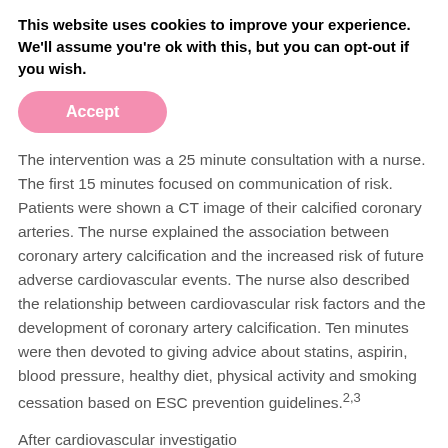This website uses cookies to improve your experience. We'll assume you're ok with this, but you can opt-out if you wish.
Accept
The intervention was a 25 minute consultation with a nurse. The first 15 minutes focused on communication of risk. Patients were shown a CT image of their calcified coronary arteries. The nurse explained the association between coronary artery calcification and the increased risk of future adverse cardiovascular events. The nurse also described the relationship between cardiovascular risk factors and the development of coronary artery calcification. Ten minutes were then devoted to giving advice about statins, aspirin, blood pressure, healthy diet, physical activity and smoking cessation based on ESC prevention guidelines.2,3
After cardiovascular...